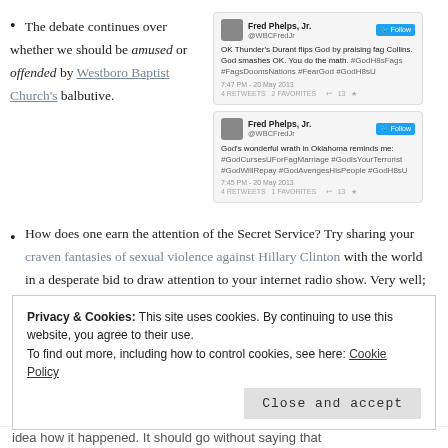The debate continues over whether we should be amused or offended by Westboro Baptist Church's balbutive.
[Figure (screenshot): Two tweets from @WBCFredJr (Fred Phelps, Jr.) about the Oklahoma tornado and gay topics with hashtags like #GodH8sFags #FagsDoomsNations #FearGod #GodCursesUForFagMarriage #GodIsYourTerrorist #GodWillRepay #GodAvengesHisPeople]
How does one earn the attention of the Secret Service? Try sharing your craven fantasies of sexual violence against Hillary Clinton with the world in a desperate bid to draw attention to your internet radio show. Very well; attention gained.
Privacy & Cookies: This site uses cookies. By continuing to use this website, you agree to their use. To find out more, including how to control cookies, see here: Cookie Policy
Close and accept
idea how it happened. It should go without saying that